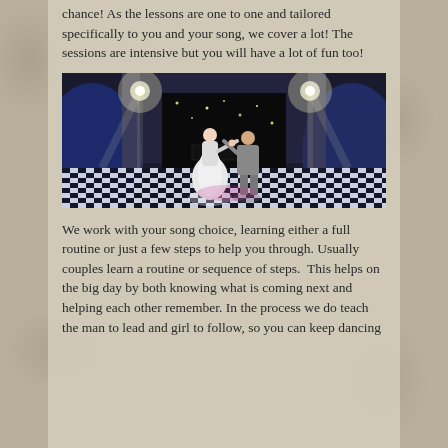chance! As the lessons are one to one and tailored specifically to you and your song, we cover a lot! The sessions are intensive but you will have a lot of fun too!
[Figure (photo): A bride in a white dress and groom in grey suit dancing together on a black and white checkered dance floor in a dramatic venue with bright stage lights and blue/purple uplighting]
We work with your song choice, learning either a full routine or just a few steps to help you through. Usually couples learn a routine or sequence of steps.  This helps on the big day by both knowing what is coming next and helping each other remember. In the process we do teach the man to lead and girl to follow, so you can keep dancing